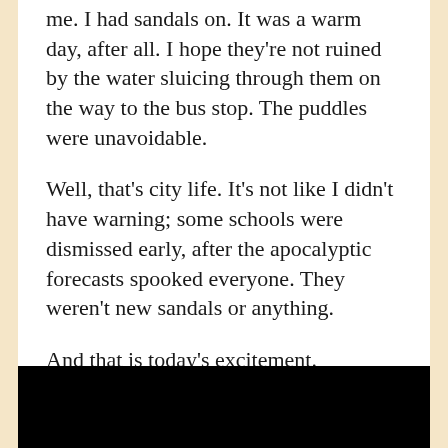me. I had sandals on. It was a warm day, after all. I hope they're not ruined by the water sluicing through them on the way to the bus stop. The puddles were unavoidable.
Well, that's city life. It's not like I didn't have warning; some schools were dismissed early, after the apocalyptic forecasts spooked everyone. They weren't new sandals or anything.
And that is today's excitement.
Time for some Small Faces, I think:
[Figure (photo): Black rectangle at the bottom of the page, likely an embedded video or image placeholder.]